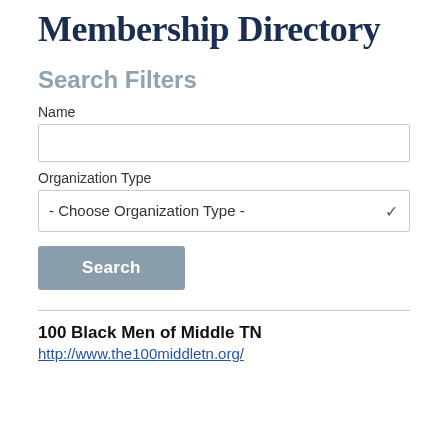Membership Directory
Search Filters
Name
Organization Type
- Choose Organization Type -
Search
100 Black Men of Middle TN
http://www.the100middletn.org/